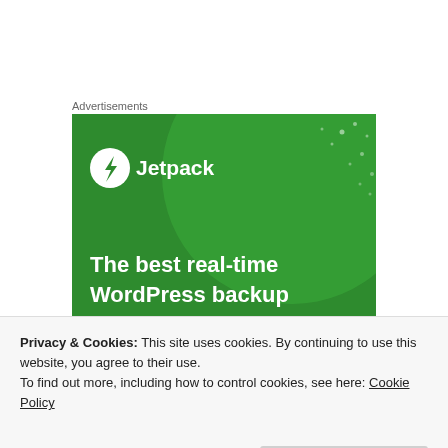Advertisements
[Figure (illustration): Jetpack WordPress backup plugin advertisement banner. Green background with a large light green circle, white dot/star decorations, Jetpack logo (lightning bolt in circle) at top left, and white bold text reading 'The best real-time WordPress backup plugin' at the bottom.]
ABOUT THE AUTHOR
Privacy & Cookies: This site uses cookies. By continuing to use this website, you agree to their use.
To find out more, including how to control cookies, see here: Cookie Policy
[Figure (photo): Partial photo of a person's head — showing the top of forehead, ears, and glasses.]